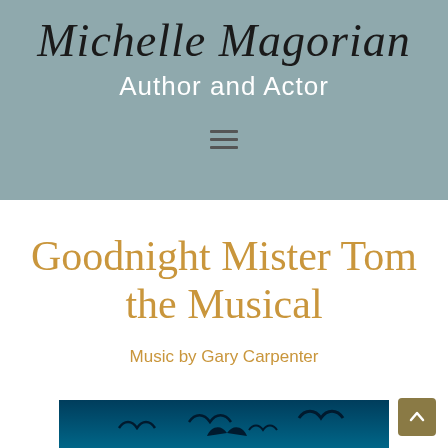Michelle Magorian
Author and Actor
Goodnight Mister Tom
the Musical
Music by Gary Carpenter
[Figure (photo): Dark blue/teal photograph showing silhouettes of birds in flight against a moody sky, cropped at bottom of page]